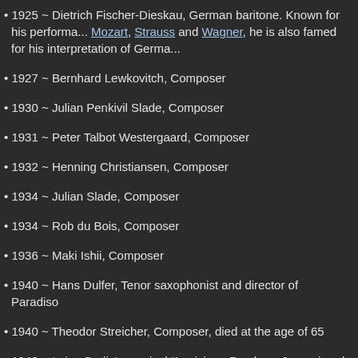1925 ~ Dietrich Fischer-Dieskau, German baritone. Known for his performances in Mozart, Strauss and Wagner, he is also famed for his interpretation of Germa...
1927 ~ Bernhard Lewkovitch, Composer
1930 ~ Julian Penkivil Slade, Composer
1931 ~ Peter Talbot Westergaard, Composer
1932 ~ Henning Christiansen, Composer
1934 ~ Julian Slade, Composer
1934 ~ Rob du Bois, Composer
1936 ~ Maki Ishii, Composer
1940 ~ Hans Dulfer, Tenor saxophonist and director of Paradiso
1940 ~ Theodor Streicher, Composer, died at the age of 65
1940 ~ Irving Berlin's musical "Louisiana Purchase," premiered in New York...
1941 ~ Frank Sinatra joined Tommy Dorsey's orchestra in recording "This Lo... Records.